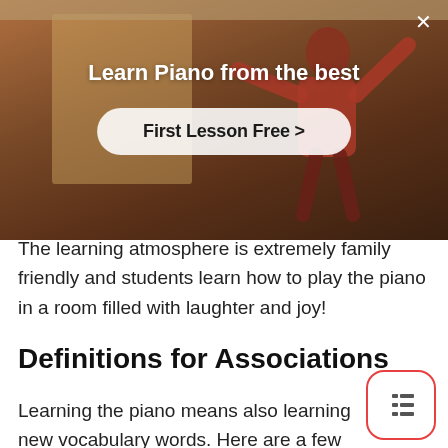[Figure (screenshot): Advertisement overlay showing a person playing piano with text 'Learn Piano from the best' and a 'First Lesson Free >' call-to-action button on a warm dark background. A close (X) button is in the top right corner.]
The learning atmosphere is extremely family friendly and students learn how to play the piano in a room filled with laughter and joy!
Definitions for Associations
Learning the piano means also learning new vocabulary words. Here are a few terms to enrich